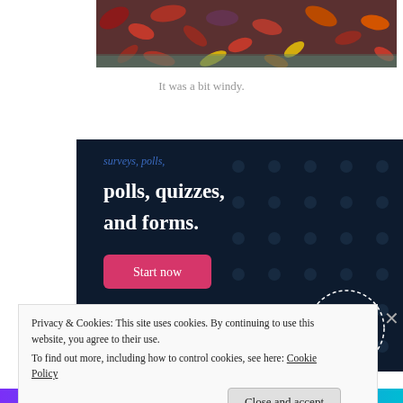[Figure (photo): Autumn fallen leaves on a surface, red, orange, yellow colors, partial view cut off at top]
It was a bit windy.
[Figure (infographic): Dark navy blue advertisement banner for Crowdsignal. Text reads 'polls, quizzes, and forms.' with a pink 'Start now' button and Crowdsignal logo in bottom right corner with dotted circle badge.]
Privacy & Cookies: This site uses cookies. By continuing to use this website, you agree to their use.
To find out more, including how to control cookies, see here: Cookie Policy
Close and accept